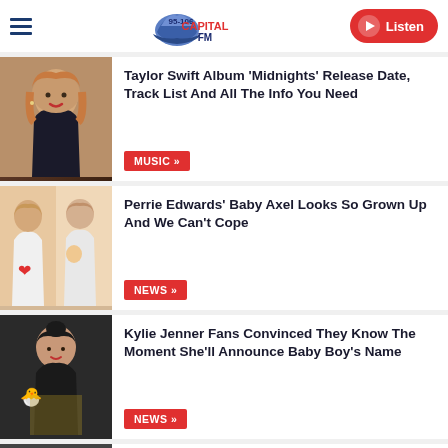95-106 Capital FM — Listen
Taylor Swift Album 'Midnights' Release Date, Track List And All The Info You Need
MUSIC
Perrie Edwards' Baby Axel Looks So Grown Up And We Can't Cope
NEWS
Kylie Jenner Fans Convinced They Know The Moment She'll Announce Baby Boy's Name
NEWS